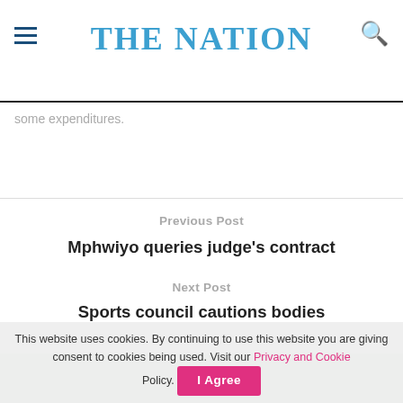THE NATION
some expenditures.
Previous Post
Mphwiyo queries judge's contract
Next Post
Sports council cautions bodies
Related Posts
This website uses cookies. By continuing to use this website you are giving consent to cookies being used. Visit our Privacy and Cookie Policy.